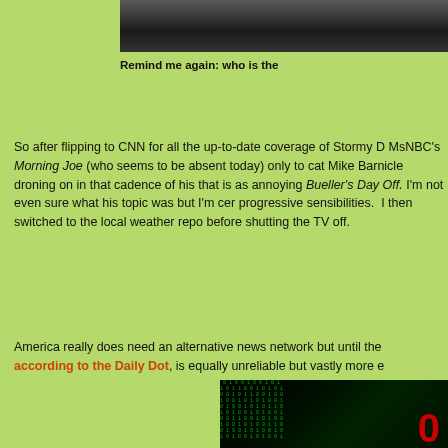[Figure (photo): Top portion of a photo showing a person in dark clothing, partially cropped at top of page]
Remind me again: who is the
So after flipping to CNN for all the up-to-date coverage of Stormy D MsNBC's Morning Joe (who seems to be absent today) only to ca Mike Barnicle droning on in that cadence of his that is as annoying Bueller's Day Off. I'm not even sure what his topic was but I'm cer progressive sensibilities.  I then switched to the local weather repo before shutting the TV off.
America really does need an alternative news network but until the according to the Daily Dot, is equally unreliable but vastly more e
[Figure (photo): Dark image with green binary code (zeros and ones) streaming in diagonal lines, with a hooded figure silhouette and a large red letter visible at bottom right]